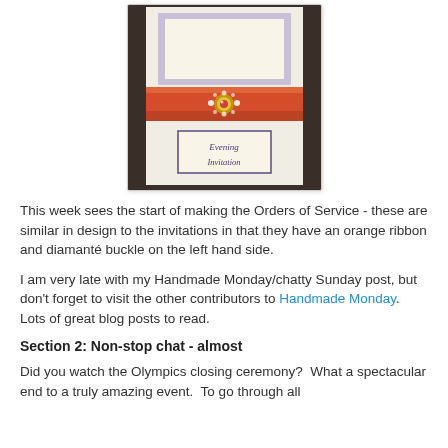[Figure (photo): Photo of a handmade evening wedding invitation with an orange/red ribbon band and diamanté buckle on the front, with a label reading 'Evening Invitation' in script font.]
This week sees the start of making the Orders of Service - these are similar in design to the invitations in that they have an orange ribbon and diamanté buckle on the left hand side.
I am very late with my Handmade Monday/chatty Sunday post, but don't forget to visit the other contributors to Handmade Monday.  Lots of great blog posts to read.
Section 2: Non-stop chat - almost
Did you watch the Olympics closing ceremony?  What a spectacular end to a truly amazing event.  To go through all